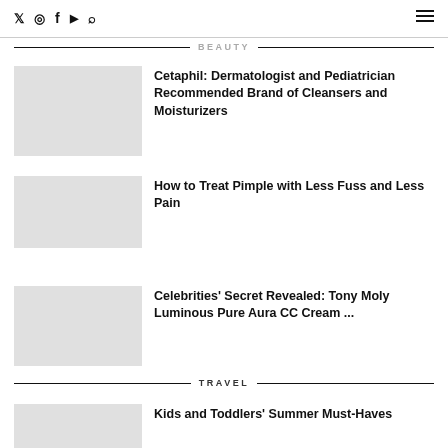Twitter Instagram Facebook YouTube Search [hamburger menu]
BEAUTY
Cetaphil: Dermatologist and Pediatrician Recommended Brand of Cleansers and Moisturizers
How to Treat Pimple with Less Fuss and Less Pain
Celebrities' Secret Revealed: Tony Moly Luminous Pure Aura CC Cream ...
TRAVEL
Kids and Toddlers' Summer Must-Haves